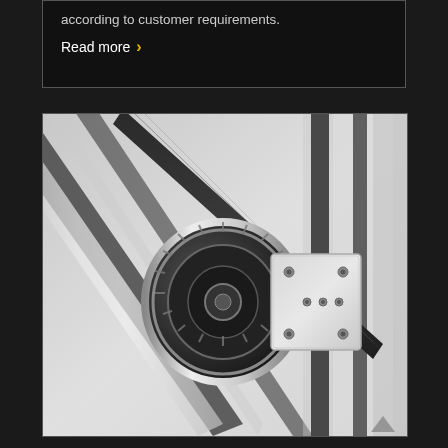according to customer requirements.
Read more >
[Figure (photo): Close-up 3D rendering of an industrial belt drive or timing belt mechanism mounted on a linear rail system. The component features a toothed gear/pulley with a black belt, attached to a square mounting plate with visible screw holes, all mounted on aluminum profile rails.]